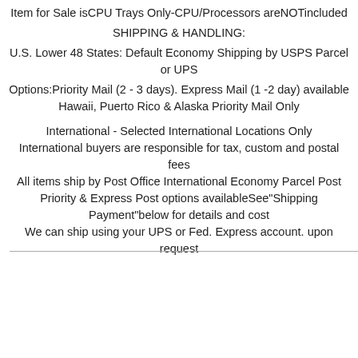Item for Sale isCPU Trays Only-CPU/Processors areNOTincluded
SHIPPING & HANDLING:
U.S. Lower 48 States: Default Economy Shipping by USPS Parcel or UPS
Options:Priority Mail (2 - 3 days). Express Mail (1 -2 day) available
Hawaii, Puerto Rico & Alaska Priority Mail Only
International - Selected International Locations Only
International buyers are responsible for tax, custom and postal fees
All items ship by Post Office International Economy Parcel Post
Priority & Express Post options availableSee"Shipping Payment"below for details and cost
We can ship using your UPS or Fed. Express account. upon request